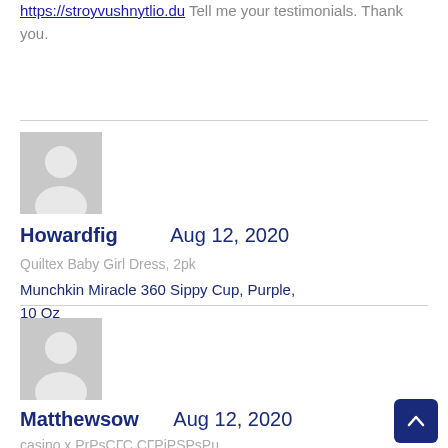https://stroyvushnytlio.du Tell me your testimonials. Thank you.
[Figure (illustration): Generic user avatar placeholder (gray silhouette on gray background) for user Howardfig]
Howardfig   Aug 12, 2020
Quiltex Baby Girl Dress, 2pk
Munchkin Miracle 360 Sippy Cup, Purple, 10 Oz
[Figure (illustration): Generic user avatar placeholder (gray silhouette on gray background) for user Matthewsow]
Matthewsow   Aug 12, 2020
casino x PrPsCГС,СГРiРSРsPu